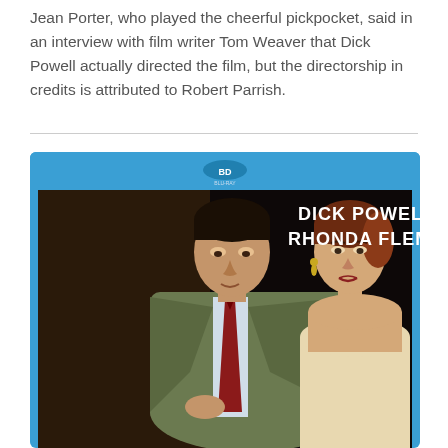Jean Porter, who played the cheerful pickpocket, said in an interview with film writer Tom Weaver that Dick Powell actually directed the film, but the directorship in credits is attributed to Robert Parrish.
[Figure (photo): Blu-ray disc case cover featuring illustrated artwork of Dick Powell in a suit with red tie and Rhonda Fleming in a strapless dress, against a dark background. The names DICK POWELL and RHONDA FLEMING appear in bold white text on the upper right. The case has a blue Blu-ray spine/top border with the Blu-ray logo.]